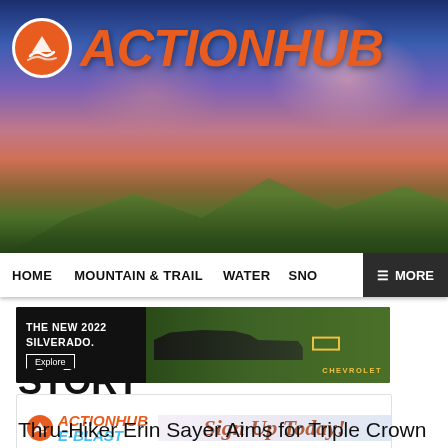[Figure (photo): ActionHub website header with mountain/sky background photo showing purple and orange sunset clouds with mountain silhouette. ActionHub logo (orange circle with mountain icon and large orange italic ACTIONHUB text) in top left.]
HOME   MOUNTAIN & TRAIL   WATER   SNOW   ≡ MORE
[Figure (screenshot): Chevrolet advertisement banner: THE NEW 2022 SILVERADO. with Explore button, truck image, and CHEVROLET logo in gold on dark background]
[Figure (screenshot): ActionHub E-BLAST advertisement banner with ActionHub logo, ACTIONHUB in orange, E-BLAST in blue, and Sign Up Today! text in cursive on light background]
STORY
Thru-Hiker Erin Sayer Aims for Triple Crown